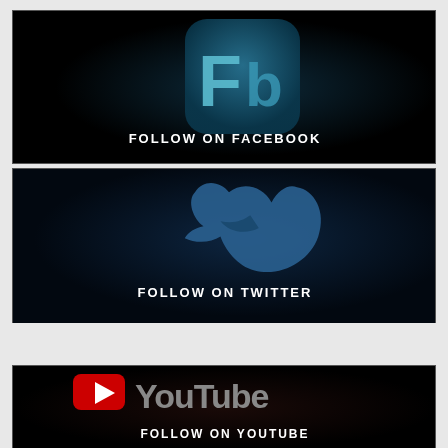[Figure (illustration): Facebook social media banner with dark background, 'Fb' logo icon in teal/blue, and white text 'FOLLOW ON FACEBOOK']
[Figure (illustration): Twitter social media banner with dark navy background, Twitter bird logo in blue, and white text 'FOLLOW ON TWITTER']
[Figure (illustration): YouTube social media banner with dark background, YouTube logo (red rectangle with white play button) and gray 'YouTube' text, white text 'FOLLOW ON YOUTUBE']